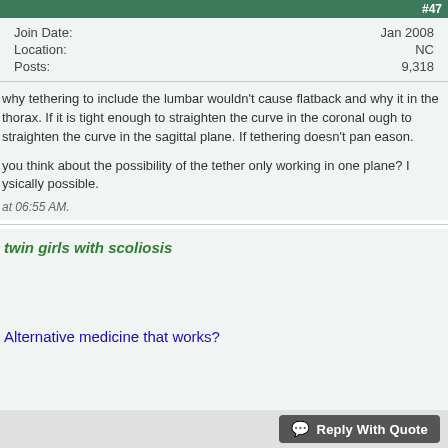#47
| Join Date: | Jan 2008 |
| Location: | NC |
| Posts: | 9,318 |
why tethering to include the lumbar wouldn't cause flatback and why it in the thorax. If it is tight enough to straighten the curve in the coronal ough to straighten the curve in the sagittal plane. If tethering doesn't pan eason.
you think about the possibility of the tether only working in one plane? I ysically possible.
at 06:55 AM.
twin girls with scoliosis
Alternative medicine that works?
Reply With Quote